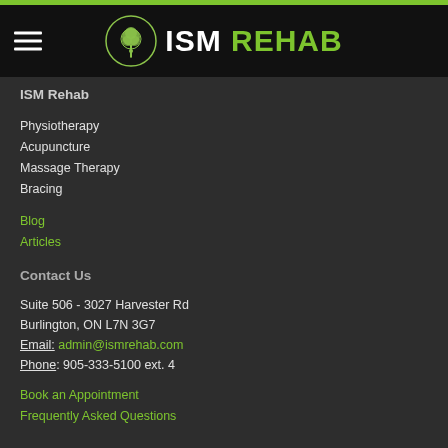[Figure (logo): ISM Rehab logo with tree icon in circle and text ISM REHAB]
ISM Rehab
Physiotherapy
Acupuncture
Massage Therapy
Bracing
Blog
Articles
Contact Us
Suite 506 - 3027 Harvester Rd
Burlington, ON L7N 3G7
Email: admin@ismrehab.com
Phone: 905-333-5100 ext. 4
Book an Appointment
Frequently Asked Questions